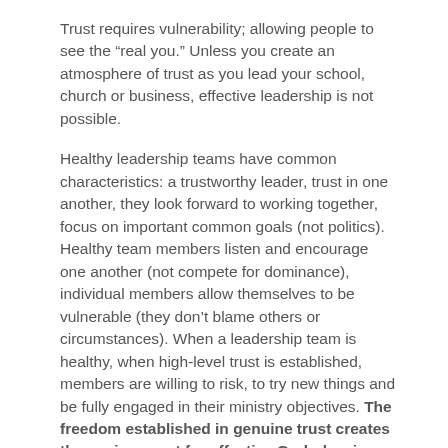Trust requires vulnerability; allowing people to see the “real you.” Unless you create an atmosphere of trust as you lead your school, church or business, effective leadership is not possible.
Healthy leadership teams have common characteristics: a trustworthy leader, trust in one another, they look forward to working together, focus on important common goals (not politics). Healthy team members listen and encourage one another (not compete for dominance), individual members allow themselves to be vulnerable (they don’t blame others or circumstances). When a leadership team is healthy, when high-level trust is established, members are willing to risk, to try new things and be fully engaged in their ministry objectives. The freedom established in genuine trust creates the environment for effective God-pleasing ministry.